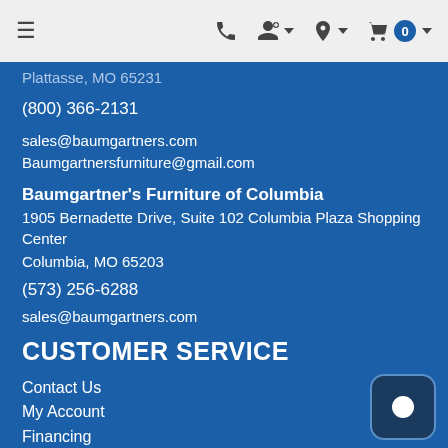Navigation bar with hamburger menu, phone icon, account icon, location icon, and cart (0)
Plattasse, MO 65231
(800) 366-2131
sales@baumgartners.com
Baumgartnersfurniture@gmail.com
Baumgartner's Furniture of Columbia
1905 Bernadette Drive, Suite 102 Columbia Plaza Shopping Center
Columbia, MO 65203
(573) 256-6288
sales@baumgartners.com
CUSTOMER SERVICE
Contact Us
My Account
Financing
Privacy Policy
Terms of Service
Accessibility
Site Map